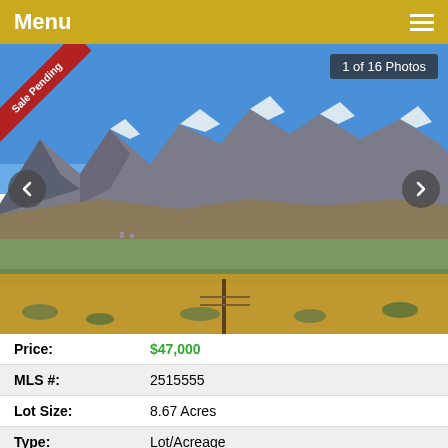Menu
[Figure (photo): Mountain landscape photo showing snow-capped peaks, valley, and dry grassland in the foreground. Labelled 'Sale Pending' with ribbon in top-left corner and '1 of 16 Photos' badge in top-right.]
| Price: | $47,000 |
| MLS #: | 2515555 |
| Lot Size: | 8.67 Acres |
| Type: | Lot/Acreage
Vacant Land - HOA-Yes, CC&R's-Yes |